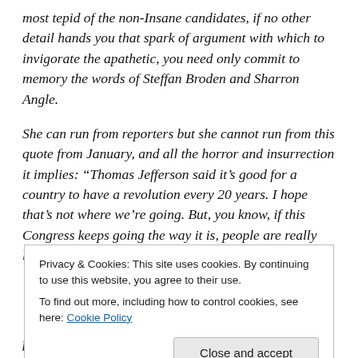most tepid of the non-Insane candidates, if no other detail hands you that spark of argument with which to invigorate the apathetic, you need only commit to memory the words of Steffan Broden and Sharron Angle.
She can run from reporters but she cannot run from this quote from January, and all the horror and insurrection it implies: “Thomas Jefferson said it’s good for a country to have a revolution every 20 years. I hope that’s not where we’re going. But, you know, if this Congress keeps going the way it is, people are really looking toward those
Privacy & Cookies: This site uses cookies. By continuing to use this website, you agree to their use.
To find out more, including how to control cookies, see here: Cookie Policy
falling of the scales from our eyes, comes the Tea Party